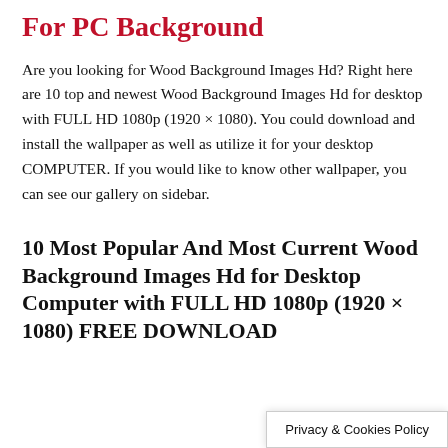For PC Background
Are you looking for Wood Background Images Hd? Right here are 10 top and newest Wood Background Images Hd for desktop with FULL HD 1080p (1920 × 1080). You could download and install the wallpaper as well as utilize it for your desktop COMPUTER. If you would like to know other wallpaper, you can see our gallery on sidebar.
10 Most Popular And Most Current Wood Background Images Hd for Desktop Computer with FULL HD 1080p (1920 × 1080) FREE DOWNLOAD
Privacy & Cookies Policy